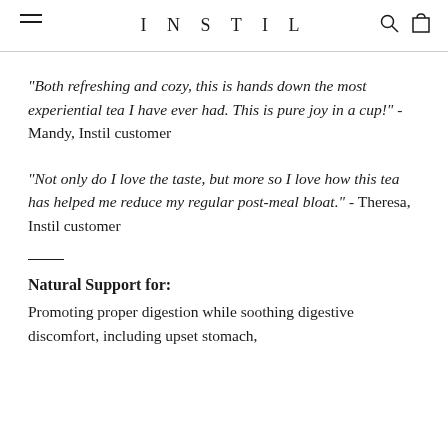INSTIL
"Both refreshing and cozy, this is hands down the most experiential tea I have ever had. This is pure joy in a cup!" - Mandy, Instil customer
"Not only do I love the taste, but more so I love how this tea has helped me reduce my regular post-meal bloat." - Theresa, Instil customer
Natural Support for:
Promoting proper digestion while soothing digestive discomfort, including upset stomach,